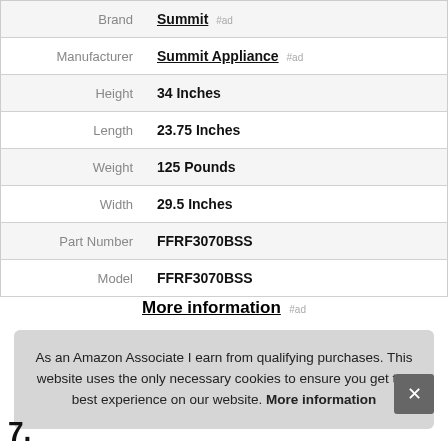| Attribute | Value |
| --- | --- |
| Brand | Summit #ad |
| Manufacturer | Summit Appliance #ad |
| Height | 34 Inches |
| Length | 23.75 Inches |
| Weight | 125 Pounds |
| Width | 29.5 Inches |
| Part Number | FFRF3070BSS |
| Model | FFRF3070BSS |
More information #ad
As an Amazon Associate I earn from qualifying purchases. This website uses the only necessary cookies to ensure you get the best experience on our website. More information
7.